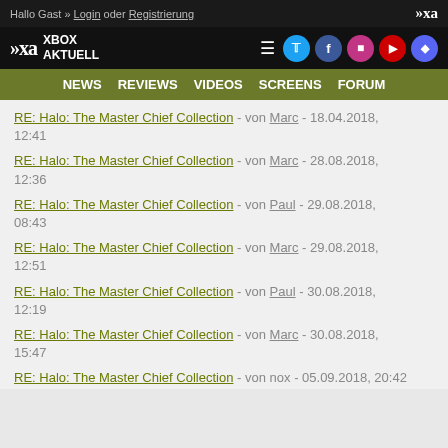Hallo Gast » Login oder Registrierung
[Figure (logo): Xbox Aktuell logo with navigation icons (Twitter, Facebook, Instagram, YouTube, Discord)]
NEWS  REVIEWS  VIDEOS  SCREENS  FORUM
RE: Halo: The Master Chief Collection - von Marc - 18.04.2018, 12:41
RE: Halo: The Master Chief Collection - von Marc - 28.08.2018, 12:36
RE: Halo: The Master Chief Collection - von Paul - 29.08.2018, 08:43
RE: Halo: The Master Chief Collection - von Marc - 29.08.2018, 12:51
RE: Halo: The Master Chief Collection - von Paul - 30.08.2018, 12:19
RE: Halo: The Master Chief Collection - von Marc - 30.08.2018, 15:47
RE: Halo: The Master Chief Collection - von nox - 05.09.2018, 20:42